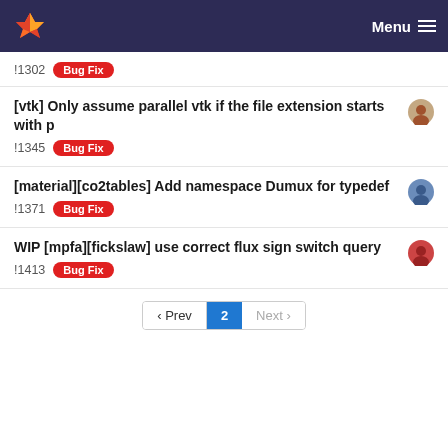Menu
!1302  Bug Fix
[vtk] Only assume parallel vtk if the file extension starts with p
!1345  Bug Fix
[material][co2tables] Add namespace Dumux for typedef
!1371  Bug Fix
WIP [mpfa][fickslaw] use correct flux sign switch query
!1413  Bug Fix
‹ Prev  2  Next ›